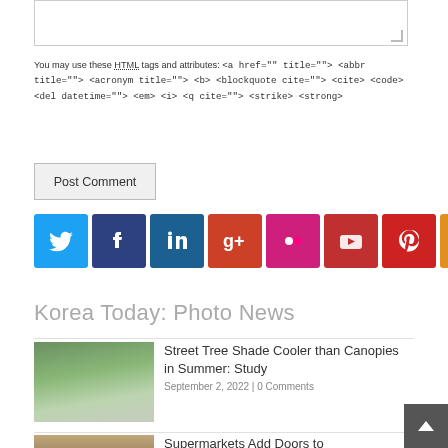You may use these HTML tags and attributes: <a href="" title=""> <abbr title=""> <acronym title=""> <b> <blockquote cite=""> <cite> <code> <del datetime=""> <em> <i> <q cite=""> <strike> <strong>
Post Comment
[Figure (infographic): Row of 8 social media icon buttons: Twitter (blue), Facebook (dark blue), LinkedIn (teal blue), Google+ (red-orange), Flickr (pink/magenta), YouTube (red), Pinterest (red), RSS (orange)]
Korea Today: Photo News
Street Tree Shade Cooler than Canopies in Summer: Study
September 2, 2022 | 0 Comments
Supermarkets Add Doors to Refrigerated Display Cases
September 2, 2022 | 0 Comments